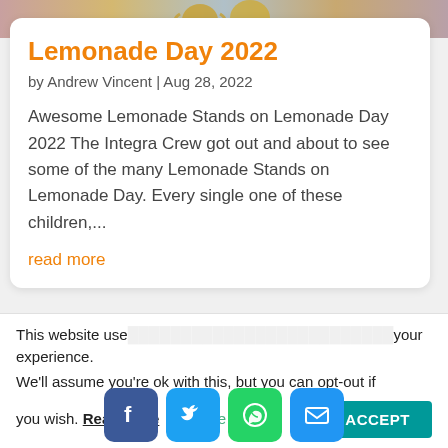[Figure (photo): Partial top of an image showing trophies or awards with gold/red colors, cropped at the top of the page]
Lemonade Day 2022
by Andrew Vincent | Aug 28, 2022
Awesome Lemonade Stands on Lemonade Day 2022 The Integra Crew got out and about to see some of the many Lemonade Stands on Lemonade Day. Every single one of these children,...
read more
[Figure (screenshot): Social media share buttons: Facebook (blue), Twitter (light blue), WhatsApp (green), Email (blue)]
This website use cookies to improve your experience. We'll assume you're ok with this, but you can opt-out if you wish. Read More Cookie settings ACCEPT